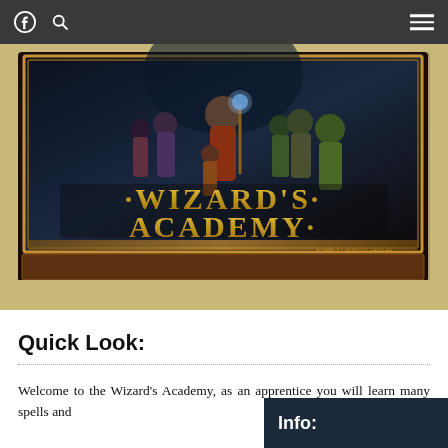Navigation bar with Facebook icon, search icon, and hamburger menu
[Figure (photo): Photograph of Wizard's Academy board game box on a wooden table. The box cover shows fantasy characters including a wizard holding a glowing staff, and prominently displays the title 'WIZARD'S ACADEMY' in large gold letters. A smaller text reads 'A GAME BY GREGORY CARSLAW'.]
Quick Look:
Welcome to the Wizard's Academy, as an apprentice you will learn many spells and
Info: